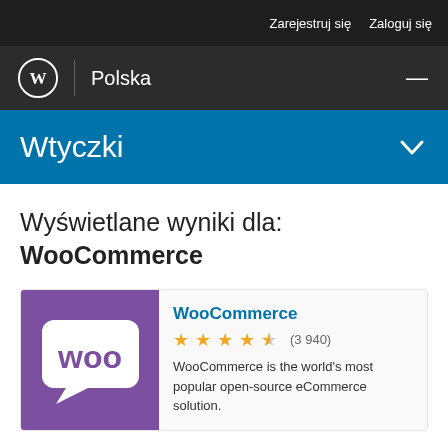Zarejestruj się   Zaloguj się
[Figure (logo): WordPress logo circle W with Polska navigation bar]
Wtyczki
Wyświetlane wyniki dla: WooCommerce
[Figure (logo): WooCommerce plugin card with purple background showing 'woo' logo, star rating 4.5 stars (3 940), and description: WooCommerce is the world's most popular open-source eCommerce solution.]